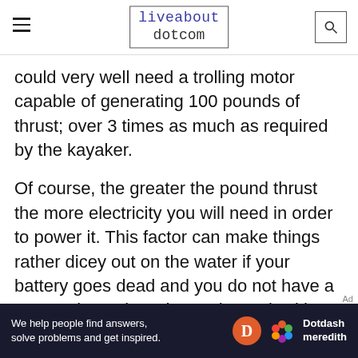liveabout dotcom
could very well need a trolling motor capable of generating 100 pounds of thrust; over 3 times as much as required by the kayaker.
Of course, the greater the pound thrust the more electricity you will need in order to power it. This factor can make things rather dicey out on the water if your battery goes dead and you do not have a gas engine onboard to recharge it with a generator. One of the best solutions to this problem, particularly in sun-drenched regions, is to incorporate a flexible solar panel into your power configuration so that the battery can be refilled...
[Figure (other): Dotdash Meredith advertisement banner: 'We help people find answers, solve problems and get inspired.' with Dotdash Meredith logo]